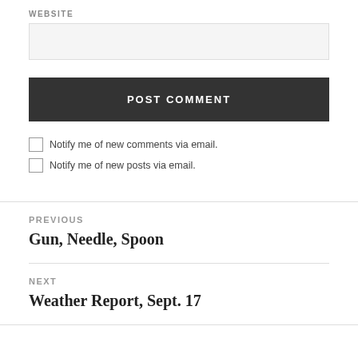WEBSITE
POST COMMENT
Notify me of new comments via email.
Notify me of new posts via email.
PREVIOUS
Gun, Needle, Spoon
NEXT
Weather Report, Sept. 17